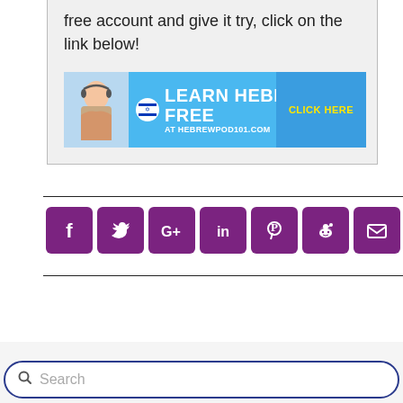free account and give it try, click on the link below!
[Figure (illustration): HebrewPod101 advertisement banner: blue background with woman wearing headphones, Israeli flag icon, text 'LEARN HEBREW FREE AT HEBREWPOD101.COM CLICK HERE' in yellow]
[Figure (infographic): Social media share icons row: Facebook, Twitter, Google+, LinkedIn, Pinterest, Reddit, Email — all in purple rounded squares]
Search